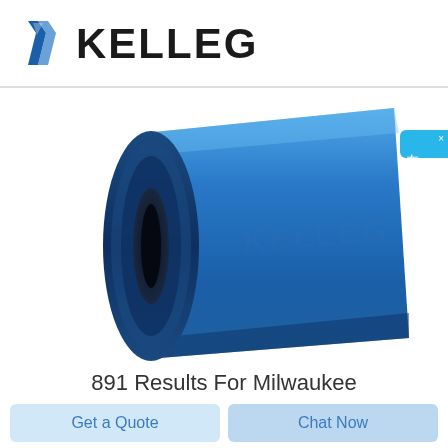[Figure (logo): KELLEG company logo with a blue tie/wrench icon on the left and bold dark text KELLEG on the right]
[Figure (photo): A blue cylindrical tube/pipe fitting, hollow in the center, photographed at an angle against a white background, with a faint KELLEG watermark]
[Figure (other): Blue chat widget button on the right side with Chinese characters meaning 'online consultation' (在线咨询)]
891 Results For Milwaukee
Get a Quote
Chat Now